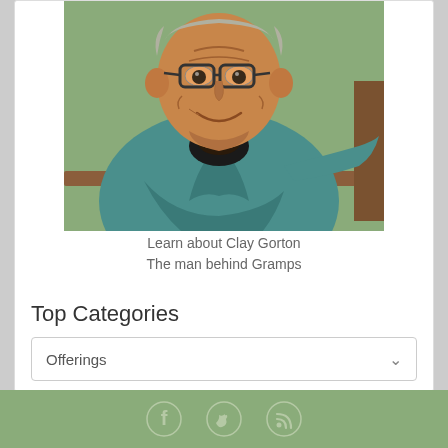[Figure (illustration): Cartoon/illustrated portrait of an elderly man with glasses wearing a teal/blue sweater, sitting on what appears to a bench, with a green background. The man is smiling and the image has a comic-book style rendering.]
Learn about Clay Gorton
The man behind Gramps
Top Categories
Offerings
[Figure (other): Green footer bar with social media icons (Facebook, Twitter, RSS/feed) in white/light color]